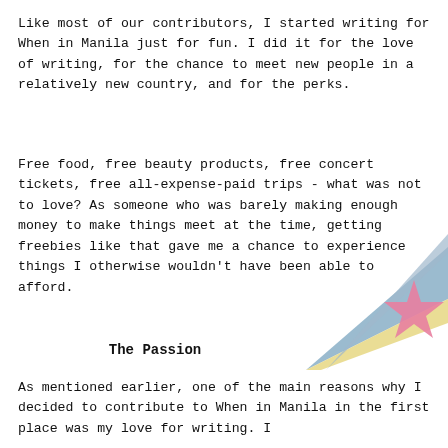Like most of our contributors, I started writing for When in Manila just for fun. I did it for the love of writing, for the chance to meet new people in a relatively new country, and for the perks.
Free food, free beauty products, free concert tickets, free all-expense-paid trips - what was not to love? As someone who was barely making enough money to make things meet at the time, getting freebies like that gave me a chance to experience things I otherwise wouldn't have been able to afford.
[Figure (illustration): Decorative illustration of overlapping colored diagonal stripes (blue, yellow, gray) with a pink star, positioned in the bottom-right area of the page.]
The Passion
As mentioned earlier, one of the main reasons why I decided to contribute to When in Manila in the first place was my love for writing. I